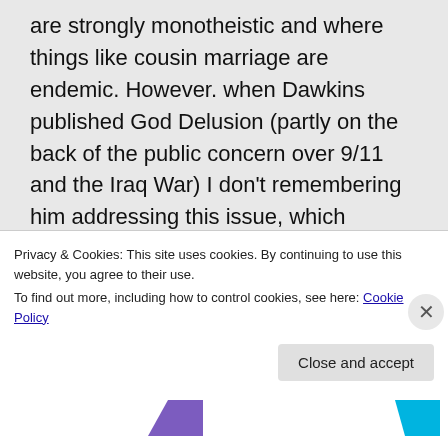are strongly monotheistic and where things like cousin marriage are endemic. However. when Dawkins published God Delusion (partly on the back of the public concern over 9/11 and the Iraq War) I don't remembering him addressing this issue, which involved an academic in his own field providing evolutionary explanations for things like suicide bombings and the sad
Privacy & Cookies: This site uses cookies. By continuing to use this website, you agree to their use.
To find out more, including how to control cookies, see here: Cookie Policy
Close and accept